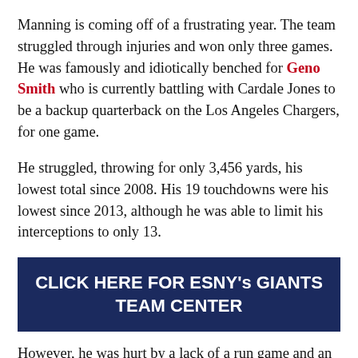Manning is coming off of a frustrating year. The team struggled through injuries and won only three games. He was famously and idiotically benched for Geno Smith who is currently battling with Cardale Jones to be a backup quarterback on the Los Angeles Chargers, for one game.
He struggled, throwing for only 3,456 yards, his lowest total since 2008. His 19 touchdowns were his lowest since 2013, although he was able to limit his interceptions to only 13.
CLICK HERE FOR ESNY's GIANTS TEAM CENTER
However, he was hurt by a lack of a run game and an